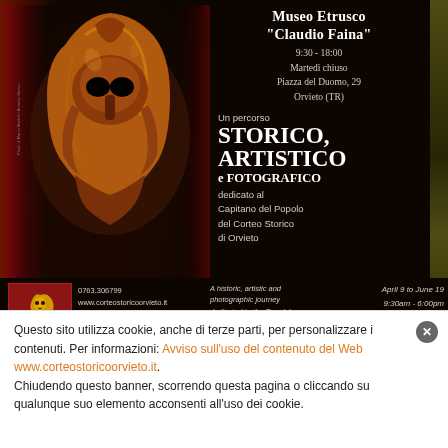[Figure (photo): Promotional poster for Museo Etrusco Claudio Faina featuring a bronze Etrusco-Corinthian helmet on dark background with red drapery]
Museo Etrusco "Claudio Faina"
9:30 - 18:00
Martedì chiuso
Piazza del Duomo, 29
Orvieto (TR)
Un percorso
STORICO,
ARTISTICO
e FOTOGRAFICO
dicato al
Capitano del Popolo
del Corteo Storico
di Orvieto
0763.306799
www.corteostoricoorvieto.it
/CorteoStoricoOrvieto
/corteostoricodiorvieto
/corteoOrvieto
A historic, artistic and photographic journey dedicated to the People's Magistrate of the Historic Procession of Orvieto
April 9 to June 19
9:30am - 6:00pm
Closed Tuesdays
Questo sito utilizza cookie, anche di terze parti, per personalizzare i contenuti. Per informazioni: Avviso sull'uso del contenuto del Web www.corteostoricoorvieto.it.
Chiudendo questo banner, scorrendo questa pagina o cliccando su qualunque suo elemento acconsenti all'uso dei cookie.